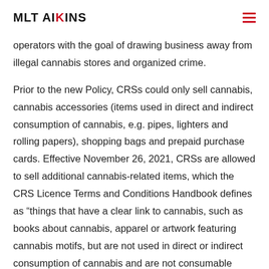MLT AIKINS
operators with the goal of drawing business away from illegal cannabis stores and organized crime.
Prior to the new Policy, CRSs could only sell cannabis, cannabis accessories (items used in direct and indirect consumption of cannabis, e.g. pipes, lighters and rolling papers), shopping bags and prepaid purchase cards. Effective November 26, 2021, CRSs are allowed to sell additional cannabis-related items, which the CRS Licence Terms and Conditions Handbook defines as “things that have a clear link to cannabis, such as books about cannabis, apparel or artwork featuring cannabis motifs, but are not used in direct or indirect consumption of cannabis and are not consumable (such as food, beverages